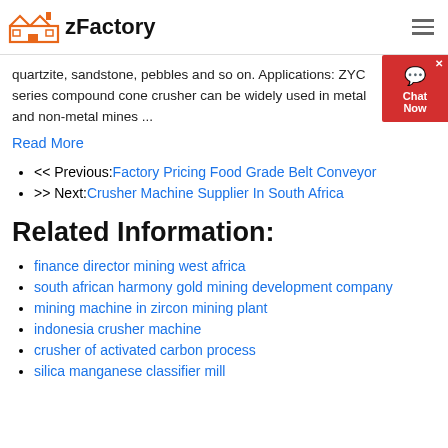zFactory
quartzite, sandstone, pebbles and so on. Applications: ZYC series compound cone crusher can be widely used in metal and non-metal mines ...
Read More
<< Previous:Factory Pricing Food Grade Belt Conveyor
>> Next:Crusher Machine Supplier In South Africa
Related Information:
finance director mining west africa
south african harmony gold mining development company
mining machine in zircon mining plant
indonesia crusher machine
crusher of activated carbon process
silica manganese classifier mill